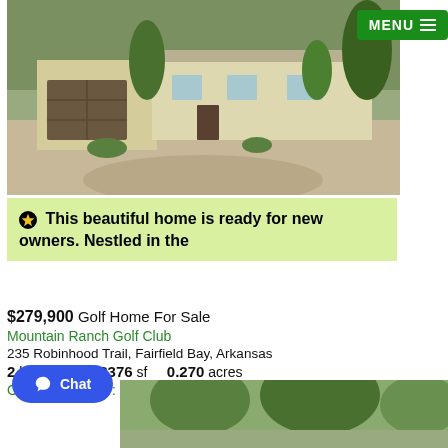[Figure (photo): Exterior front view of a ranch-style home with garage, driveway, and trees]
MENU ☰
⭐ This beautiful home is ready for new owners. Nestled in the
$279,900 Golf Home For Sale
Mountain Ranch Golf Club
235 Robinhood Trail, Fairfield Bay, Arkansas
2 br  3.0 ba  2376 sf  0.270 acres
On Golf Course?: Yes  Year Built: 1980
[Figure (photo): Second exterior photo of the property showing trees]